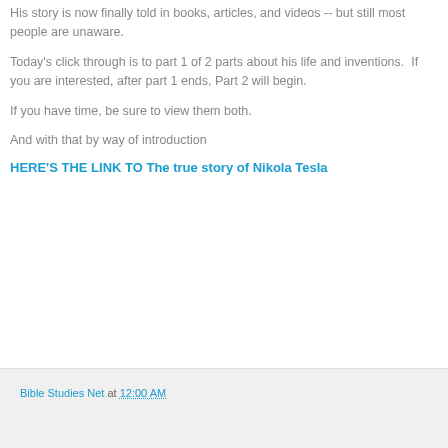His story is now finally told in books, articles, and videos -- but still most people are unaware.
Today's click through is to part 1 of 2 parts about his life and inventions.  If you are interested, after part 1 ends, Part 2 will begin.
If you have time, be sure to view them both.
And with that by way of introduction
HERE'S THE LINK TO The true story of Nikola Tesla
Bible Studies Net at 12:00 AM